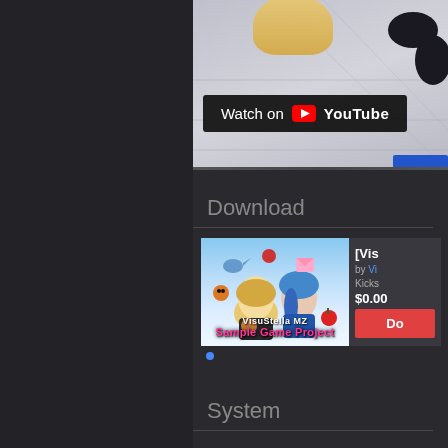[Figure (screenshot): Anime-style screenshot showing a character on a tiled floor, partially visible. Top portion of the page. Watch on YouTube button overlay.]
Watch on YouTube
Download
[Figure (illustration): VisuStella MZ Sample Game Project promotional image showing two chibi-style anime characters floating with game items. Blue and white color scheme.]
[Vis...
by Vi...
Kicks...
$0.00
Do...
System